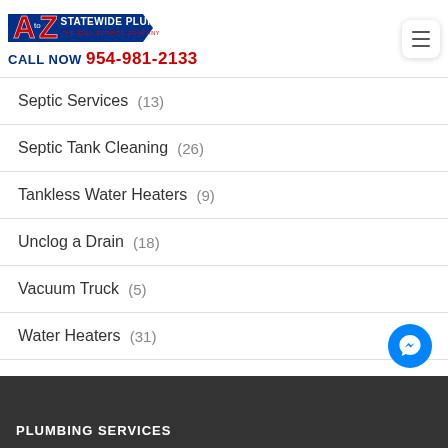A to Z Statewide Plumbing - CALL NOW 954-981-2133
Septic Services (13)
Septic Tank Cleaning (26)
Tankless Water Heaters (9)
Unclog a Drain (18)
Vacuum Truck (5)
Water Heaters (31)
PLUMBING SERVICES